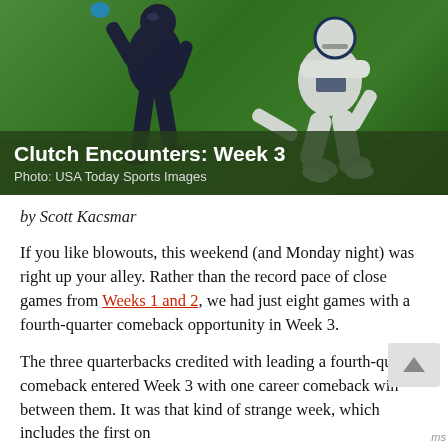[Figure (photo): Two NFL football players on a green field — one in dark uniform running, one in white uniform on knees. Overlay bar shows title and photo credit.]
Clutch Encounters: Week 3
Photo: USA Today Sports Images
by Scott Kacsmar
If you like blowouts, this weekend (and Monday night) was right up your alley. Rather than the record pace of close games from Weeks 1 and 2, we had just eight games with a fourth-quarter comeback opportunity in Week 3.
The three quarterbacks credited with leading a fourth-quarter comeback entered Week 3 with one career comeback win between them. It was that kind of strange week, which includes the first on...